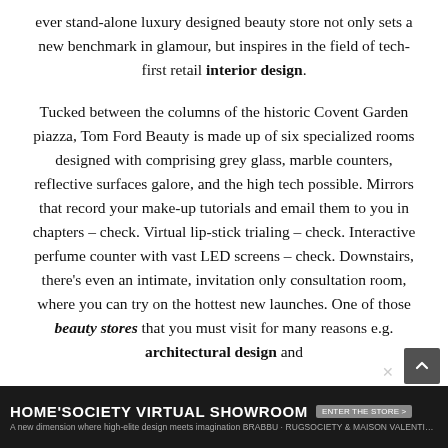ever stand-alone luxury designed beauty store not only sets a new benchmark in glamour, but inspires in the field of tech-first retail interior design.
Tucked between the columns of the historic Covent Garden piazza, Tom Ford Beauty is made up of six specialized rooms designed with comprising grey glass, marble counters, reflective surfaces galore, and the high tech possible. Mirrors that record your make-up tutorials and email them to you in chapters – check. Virtual lip-stick trialing – check. Interactive perfume counter with vast LED screens – check. Downstairs, there's even an intimate, invitation only consultation room, where you can try on the hottest new launches. One of those beauty stores that you must visit for many reasons e.g. architectural design and
[Figure (screenshot): Advertisement banner for HOME'SOCIETY VIRTUAL SHOWROOM with dark background, white bold text, a grey button, and small subtitle text about design, imagination, and brand names.]